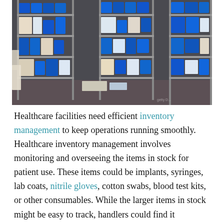[Figure (photo): A medical/healthcare storage room with metal shelving units filled with blue storage bins, white packages, and various medical supplies and consumables stacked on multiple shelves.]
Healthcare facilities need efficient inventory management to keep operations running smoothly. Healthcare inventory management involves monitoring and overseeing the items in stock for patient use. These items could be implants, syringes, lab coats, nitrile gloves, cotton swabs, blood test kits, or other consumables. While the larger items in stock might be easy to track, handlers could find it challenging to account for the smaller ones.